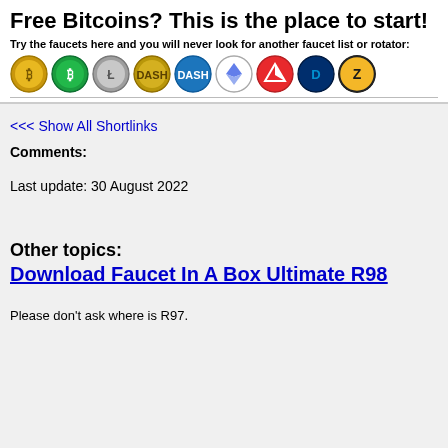Free Bitcoins? This is the place to start!
Try the faucets here and you will never look for another faucet list or rotator:
[Figure (illustration): Row of cryptocurrency coin icons: Bitcoin Gold, Bitcoin, Litecoin/Silver, Dash gold, Dash blue, Ethereum, Tron, DigiByte, Zcash]
<<< Show All Shortlinks
Comments:
Last update: 30 August 2022
Other topics:
Download Faucet In A Box Ultimate R98
Please don't ask where is R97.